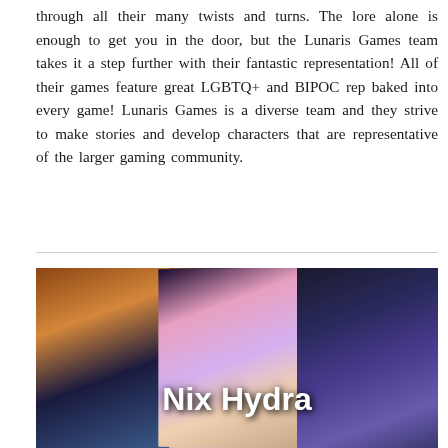through all their many twists and turns. The lore alone is enough to get you in the door, but the Lunaris Games team takes it a step further with their fantastic representation! All of their games feature great LGBTQ+ and BIPOC rep baked into every game! Lunaris Games is a diverse team and they strive to make stories and develop characters that are representative of the larger gaming community.
[Figure (illustration): A collage of illustrated game characters from Nix Hydra. Left panel shows fantasy characters in warm orange/brown tones. Center panel shows anime-style characters in purple and pink tones. Right panel shows a character in a blue outfit with a sword. White bold text 'Nix Hydra' overlaid in the center of the image.]